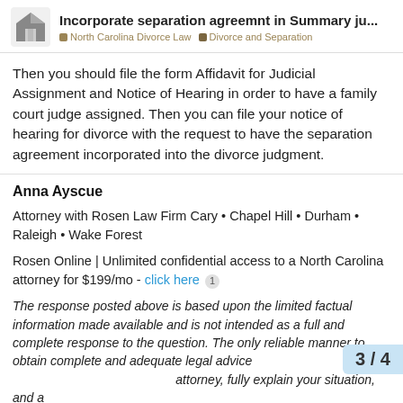Incorporate separation agreemnt in Summary ju... | North Carolina Divorce Law | Divorce and Separation
Then you should file the form Affidavit for Judicial Assignment and Notice of Hearing in order to have a family court judge assigned. Then you can file your notice of hearing for divorce with the request to have the separation agreement incorporated into the divorce judgment.
Anna Ayscue
Attorney with Rosen Law Firm Cary • Chapel Hill • Durham • Raleigh • Wake Forest
Rosen Online | Unlimited confidential access to a North Carolina attorney for $199/mo - click here 1
The response posted above is based upon the limited factual information made available and is not intended as a full and complete response to the question. The only reliable manner to obtain complete and adequate legal advice attorney, fully explain your situation, and a
3 / 4